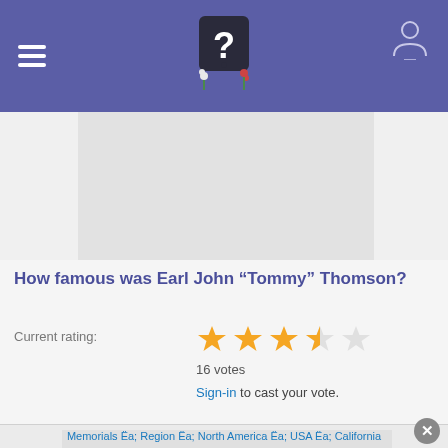Navigation header with logo and hamburger menu
[Figure (photo): Gray placeholder image for person photo]
How famous was Earl John “Tommy” Thomson?
Current rating: 4 out of 5 stars (3.5 filled), 16 votes. Sign-in to cast your vote.
[Figure (photo): Gray placeholder image at bottom]
Memorials › Region › North America › USA › California